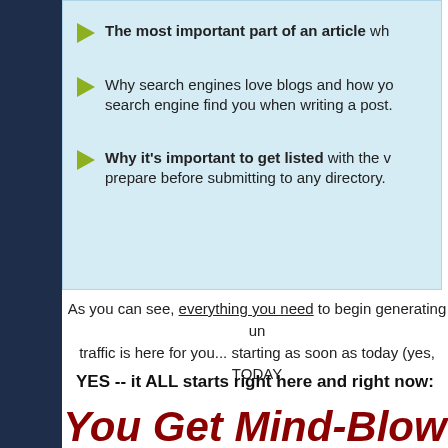The most important part of an article wh...
Why search engines love blogs and how you... search engine find you when writing a post.
Why it's important to get listed with the v... prepare before submitting to any directory.
As you can see, everything you need to begin generating un... traffic is here for you... starting as soon as today (yes, TODAY...
YES -- it ALL starts right here and right now:
You Get Mind-Blow...